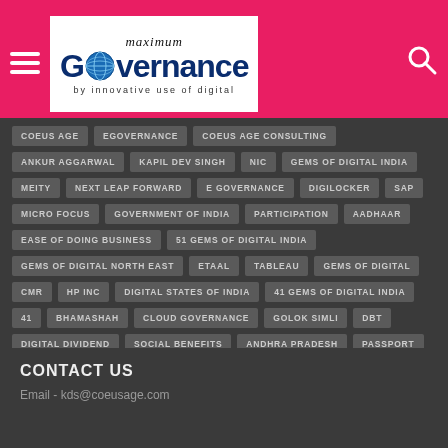maximum Governance by innovative use of digital
COEUS AGE
EGOVERNANCE
COEUS AGE CONSULTING
ANKUR AGGARWAL
KAPIL DEV SINGH
NIC
GEMS OF DIGITAL INDIA
MEITY
NEXT LEAP FORWARD
E GOVERNANCE
DIGILOCKER
SAP
MICRO FOCUS
GOVERNMENT OF INDIA
PARTICIPATION
AADHAAR
EASE OF DOING BUSINESS
51 GEMS OF DIGITAL INDIA
GEMS OF DIGITAL NORTH EAST
ETAAL
TABLEAU
GEMS OF DIGITAL
CMR
HP INC
DIGITAL STATES OF INDIA
41 GEMS OF DIGITAL INDIA
41
BHAMASHAH
CLOUD GOVERNANCE
GOLOK SIMLI
DBT
DIGITAL DIVIDEND
SOCIAL BENEFITS
ANDHRA PRADESH
PASSPORT
NATIONAL INFORMATICS CENTER
MODEL DIGITAL STATE
CONTACT US
Email - kds@coeusage.com